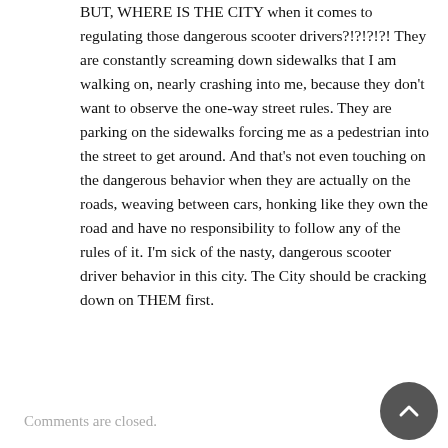BUT, WHERE IS THE CITY when it comes to regulating those dangerous scooter drivers?!?!?!?! They are constantly screaming down sidewalks that I am walking on, nearly crashing into me, because they don't want to observe the one-way street rules. They are parking on the sidewalks forcing me as a pedestrian into the street to get around. And that's not even touching on the dangerous behavior when they are actually on the roads, weaving between cars, honking like they own the road and have no responsibility to follow any of the rules of it. I'm sick of the nasty, dangerous scooter driver behavior in this city. The City should be cracking down on THEM first.
Comments are closed.